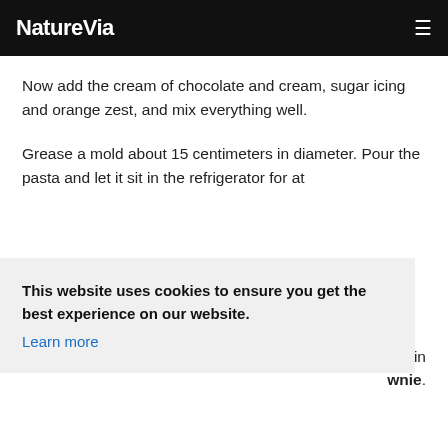NatureVia
Now add the cream of chocolate and cream, sugar icing and orange zest, and mix everything well.
Grease a mold about 15 centimeters in diameter. Pour the pasta and let it sit in the refrigerator for at
This website uses cookies to ensure you get the best experience on our website. Learn more
t in brownie.